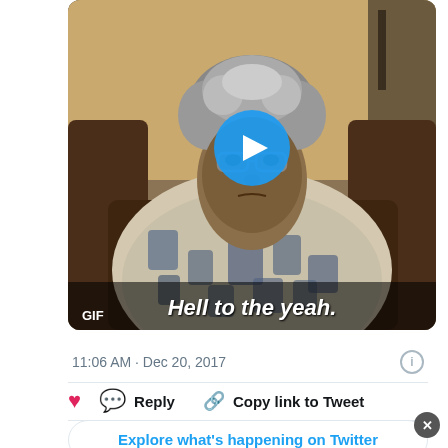[Figure (screenshot): A GIF thumbnail from a Tyler Perry Madea movie showing an elderly woman character (Madea) sitting in a leather chair with a patterned blouse, with subtitle text 'Hell to the yeah.' and a blue play button overlay and GIF label]
11:06 AM · Dec 20, 2017
Reply   Copy link to Tweet
Explore what's happening on Twitter